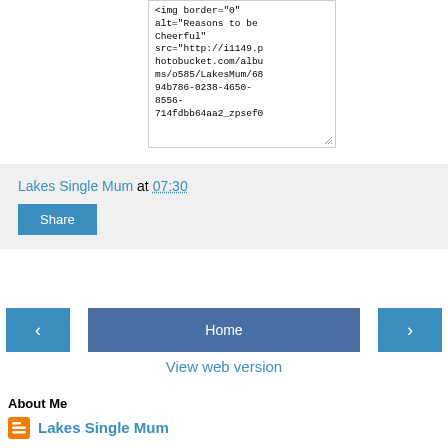[Figure (screenshot): Code text box showing HTML img tag with src URL to photobucket.com, partially visible with resize handle]
Lakes Single Mum at 07:30
Share
Home
View web version
About Me
Lakes Single Mum
View my complete profile